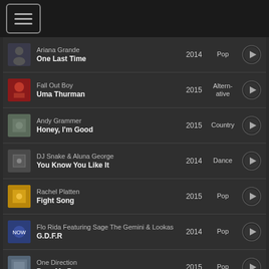Menu / navigation header bar
Ariana Grande — One Last Time — 2014 — Pop
Fall Out Boy — Uma Thurman — 2015 — Alternative
Andy Grammer — Honey, I'm Good — 2015 — Country
DJ Snake & Aluna George — You Know You Like It — 2014 — Dance
Rachel Platten — Fight Song — 2015 — Pop
Flo Rida Featuring Sage The Gemini & Lookas — G.D.F.R — 2014 — Pop
One Direction — Drag Me Down — 2015 — Pop